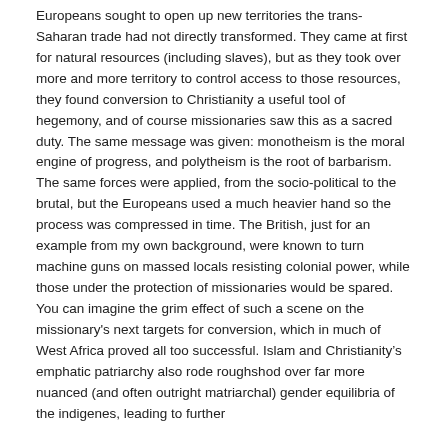Europeans sought to open up new territories the trans-Saharan trade had not directly transformed. They came at first for natural resources (including slaves), but as they took over more and more territory to control access to those resources, they found conversion to Christianity a useful tool of hegemony, and of course missionaries saw this as a sacred duty. The same message was given: monotheism is the moral engine of progress, and polytheism is the root of barbarism. The same forces were applied, from the socio-political to the brutal, but the Europeans used a much heavier hand so the process was compressed in time. The British, just for an example from my own background, were known to turn machine guns on massed locals resisting colonial power, while those under the protection of missionaries would be spared. You can imagine the grim effect of such a scene on the missionary's next targets for conversion, which in much of West Africa proved all too successful. Islam and Christianity's emphatic patriarchy also rode roughshod over far more nuanced (and often outright matriarchal) gender equilibria of the indigenes, leading to further